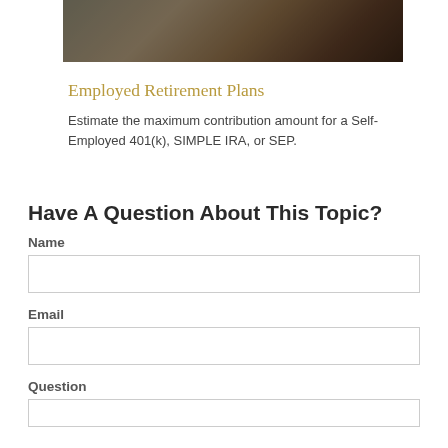[Figure (photo): Photo strip showing a desk with papers and hands, dark/warm toned]
Employed Retirement Plans
Estimate the maximum contribution amount for a Self-Employed 401(k), SIMPLE IRA, or SEP.
Have A Question About This Topic?
Name
Email
Question